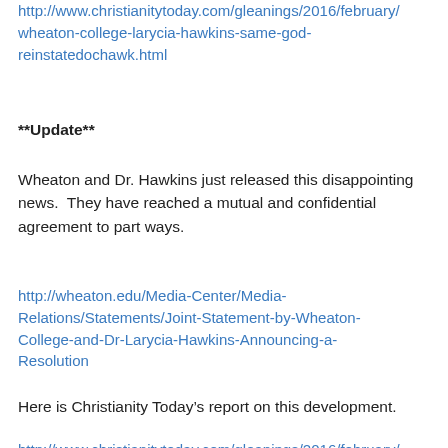http://www.christianitytoday.com/gleanings/2016/february/wheaton-college-larycia-hawkins-same-god-reinstatedochawk.html
**Update**
Wheaton and Dr. Hawkins just released this disappointing news.  They have reached a mutual and confidential agreement to part ways.
http://wheaton.edu/Media-Center/Media-Relations/Statements/Joint-Statement-by-Wheaton-College-and-Dr-Larycia-Hawkins-Announcing-a-Resolution
Here is Christianity Today's report on this development.
http://www.christianitytoday.com/gleanings/2016/february/wheaton-college-larycia-hawkins-same-god-